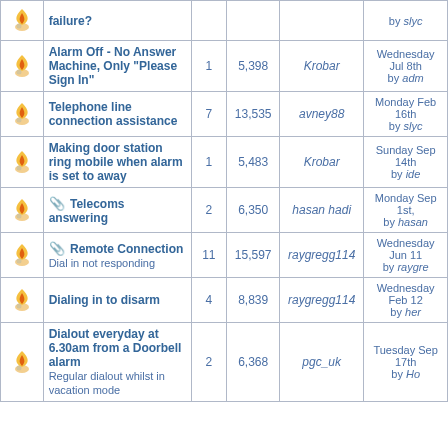|  | Topic |  | Replies | Views | Author | Last Post |
| --- | --- | --- | --- | --- | --- | --- |
| [icon] | failure? |  |  |  |  | by slyc |
| [icon] | Alarm Off - No Answer Machine, Only "Please Sign In" |  | 1 | 5,398 | Krobar | Wednesday Jul 8th by adm |
| [icon] | Telephone line connection assistance |  | 7 | 13,535 | avney88 | Monday Feb 16th by slyc |
| [icon] | Making door station ring mobile when alarm is set to away |  | 1 | 5,483 | Krobar | Sunday Sep 14th by ide |
| [icon] | [attachment] Telecoms answering |  | 2 | 6,350 | hasan hadi | Monday Sep 1st, by hasan |
| [icon] | [attachment] Remote Connection
Dial in not responding |  | 11 | 15,597 | raygregg114 | Wednesday Jun 11 by raygre |
| [icon] | Dialing in to disarm |  | 4 | 8,839 | raygregg114 | Wednesday Feb 12 by her |
| [icon] | Dialout everyday at 6.30am from a Doorbell alarm
Regular dialout whilst in vacation mode |  | 2 | 6,368 | pgc_uk | Tuesday Sep 17th by Ho |